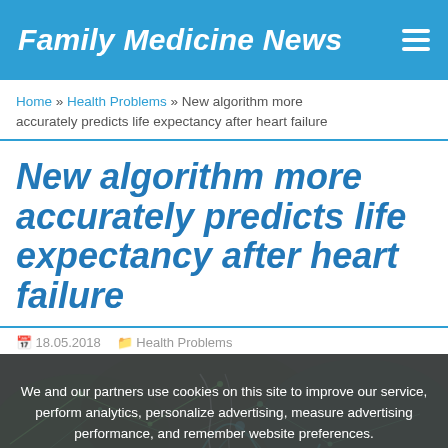Family Medicine News
Home » Health Problems » New algorithm more accurately predicts life expectancy after heart failure
New algorithm more accurately predicts life expectancy after heart failure
18.05.2018   Health Problems
We and our partners use cookies on this site to improve our service, perform analytics, personalize advertising, measure advertising performance, and remember website preferences.
[Figure (illustration): Dark background illustration of biological/cellular structures with glowing green and teal network-like patterns, suggesting DNA or cellular imagery related to cardiology.]